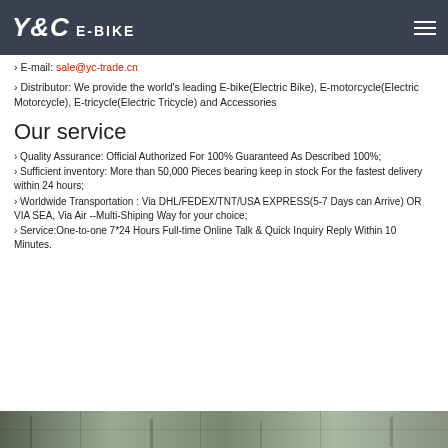Y&C E-BIKE
› E-mail: sale@yc-trade.cn
› Distributor: We provide the world's leading E-bike(Electric Bike), E-motorcycle(Electric Motorcycle), E-tricycle(Electric Tricycle) and Accessories
Our service
› Quality Assurance: Official Authorized For 100% Guaranteed As Described 100%;
› Sufficient inventory: More than 50,000 Pieces bearing keep in stock For the fastest delivery within 24 hours;
› Worldwide Transportation : Via DHL/FEDEX/TNT/USA EXPRESS(5-7 Days can Arrive) OR VIA SEA, Via Air --Multi-Shiping Way for your choice;
› Service:One-to-one 7*24 Hours Full-time Online Talk & Quick Inquiry Reply Within 10 Minutes.
[Figure (photo): Industrial facility or warehouse interior photo strip at the bottom of the page]